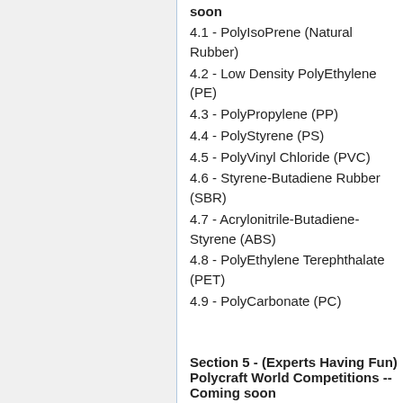soon
4.1 - PolyIsoPrene (Natural Rubber)
4.2 - Low Density PolyEthylene (PE)
4.3 - PolyPropylene (PP)
4.4 - PolyStyrene (PS)
4.5 - PolyVinyl Chloride (PVC)
4.6 - Styrene-Butadiene Rubber (SBR)
4.7 - Acrylonitrile-Butadiene-Styrene (ABS)
4.8 - PolyEthylene Terephthalate (PET)
4.9 - PolyCarbonate (PC)
Section 5 - (Experts Having Fun) Polycraft World Competitions -- Coming soon